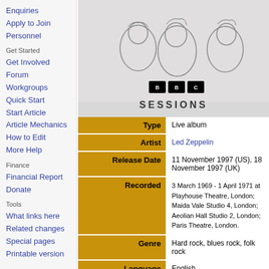Enquiries
Apply to Join
Personnel
Get Started
Get Involved
Forum
Workgroups
Quick Start
Start Article
Article Mechanics
How to Edit
More Help
Finance
Financial Report
Donate
Tools
What links here
Related changes
Special pages
Printable version
[Figure (illustration): BBC Sessions album cover showing sketch illustrations of band members with BBC logo and SESSIONS text]
| Label | Value |
| --- | --- |
| Type | Live album |
| Artist | Led Zeppelin |
| Release Date | 11 November 1997 (US), 18 November 1997 (UK) |
| Recorded | 3 March 1969 - 1 April 1971 at Playhouse Theatre, London; Maida Vale Studio 4, London; Aeolian Hall Studio 2, London; Paris Theatre, London. |
| Genre | Hard rock, blues rock, folk rock |
| Language | English |